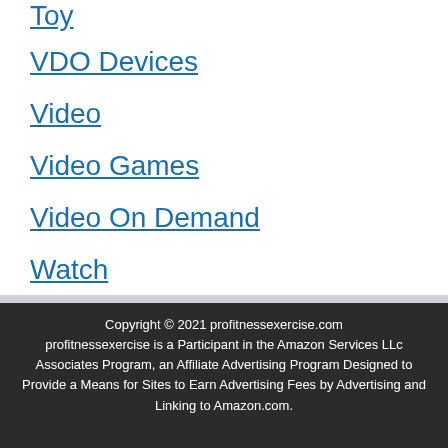Toy
VDO Devices
Video
Video Games
Video On Demand
Watch
Wireless
Copyright © 2021 profitnessexercise.com profitnessexercise is a Participant in the Amazon Services LLc Associates Program, an Affiliate Advertising Program Designed to Provide a Means for Sites to Earn Advertising Fees by Advertising and Linking to Amazon.com.